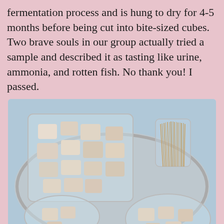fermentation process and is hung to dry for 4-5 months before being cut into bite-sized cubes. Two brave souls in our group actually tried a sample and described it as tasting like urine, ammonia, and rotten fish. No thank you! I passed.
[Figure (photo): A silver tray holding a large clear plastic container filled with bite-sized white/pale cubes of food, a glass cup filled with wooden toothpicks, a small round clear lid container with a few cubes, and a round clear plastic container with more cubes of the same food.]